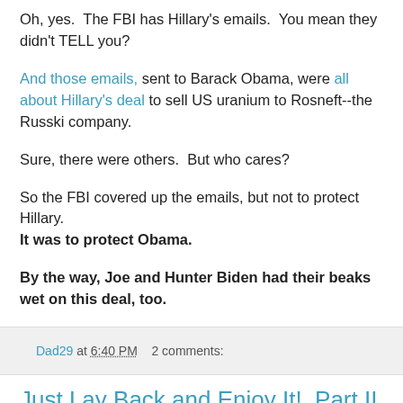Oh, yes.  The FBI has Hillary's emails.  You mean they didn't TELL you?
And those emails, sent to Barack Obama, were all about Hillary's deal to sell US uranium to Rosneft--the Russki company.
Sure, there were others.  But who cares?
So the FBI covered up the emails, but not to protect Hillary. It was to protect Obama.
By the way, Joe and Hunter Biden had their beaks wet on this deal, too.
Dad29 at 6:40 PM    2 comments:
Just Lay Back and Enjoy It!, Part II